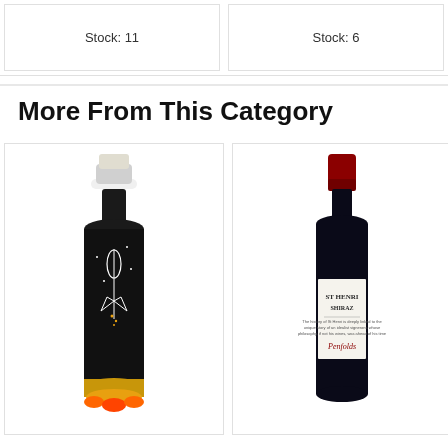Stock: 11
Stock: 6
More From This Category
[Figure (photo): Dark wine bottle with rocket ship illustration and gold/yellow base decoration, white capsule top]
[Figure (photo): Wine bottle with red capsule top and white label reading ST HENRI SHIRAZ, Penfolds branding]